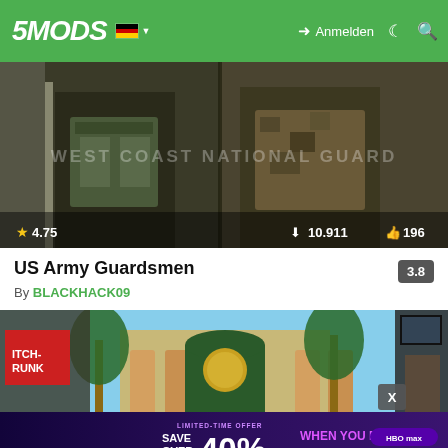5MODS — Anmelden
[Figure (screenshot): Two soldiers in camouflage gear with text overlay 'WEST COAST NATIONAL GUARD', rating 4.75, downloads 10.911, likes 196]
US Army Guardsmen
3.8
By BLACKHACK09
[Figure (screenshot): GTA V Hollywood-style building exterior with palm trees, advertisement banner overlay: LIMITED-TIME OFFER SAVE OVER 40% WHEN YOU PREPAY FOR A YEAR HBOMAX]
17